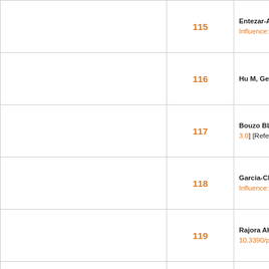|  | Number | Reference |
| --- | --- | --- |
| 115 | Entezar-Almahdi E, M... Delivery Systems: A S... 58. [PMID: 32801699 ... Influence: 7.0] [Refere... |
| 116 | Hu M, Ge X, Chen X, ... Pharmaceutics 2020;1... 10] [Cited by in F6Pub... |
| 117 | Bouzo BL, Calvelo M... to Rationally Designed... 32525313 DOI: 10.102... 3.0] [Reference Citatio... |
| 118 | Garcia-Chica J, D Pa... Rodriguez-Rodriguez... 36. [PMID: 32618490 ... Influence: 3.0] [Refere... |
| 119 | Rajora AK, Ravishank... Antiangiogenic Nanofo... 10.3390/pharmaceutic... 3.5] [Reference Citatio... |
| 120 | Kargozar S, Baino F, ... and challenges. Chem... Crossref: 28] [Cited by... |